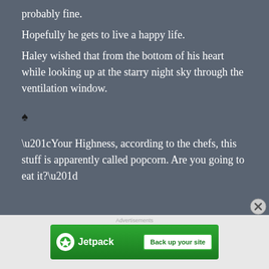probably fine.
Hopefully he gets to live a happy life.
Haley wished that from the bottom of his heart while looking up at the starry night sky through the ventilation window.
♠
“Your Highness, according to the chefs, this stuff is apparently called popcorn. Are you going to eat it?”
[Figure (other): Jetpack advertisement banner with green background, Jetpack logo and 'Back up your site' button]